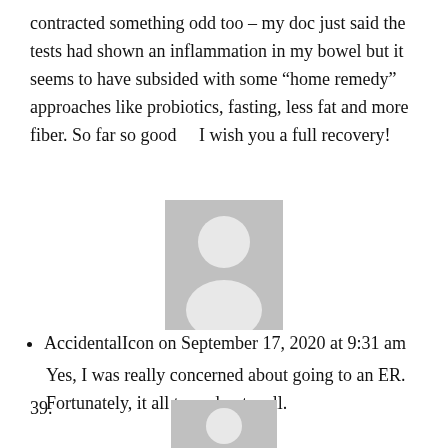contracted something odd too – my doc just said the tests had shown an inflammation in my bowel but it seems to have subsided with some “home remedy” approaches like probiotics, fasting, less fat and more fiber. So far so good    I wish you a full recovery!
[Figure (illustration): Generic grey user avatar placeholder icon with head and shoulders silhouette]
AccidentalIcon on September 17, 2020 at 9:31 am
Yes, I was really concerned about going to an ER. Fortunately, it all turned out well.
39.
[Figure (illustration): Generic grey user avatar placeholder icon, second instance]